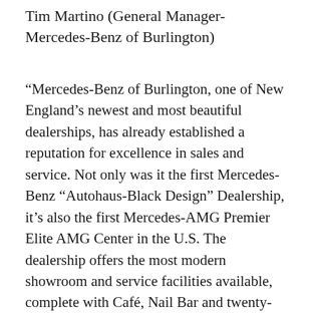Tim Martino (General Manager- Mercedes-Benz of Burlington)
“Mercedes-Benz of Burlington, one of New England’s newest and most beautiful dealerships, has already established a reputation for excellence in sales and service. Not only was it the first Mercedes-Benz “Autohaus-Black Design” Dealership, it’s also the first Mercedes-AMG Premier Elite AMG Center in the U.S. The dealership offers the most modern showroom and service facilities available, complete with Café, Nail Bar and twenty-eight work stalls for servicing Mercedes-Benz, Mercedes-AMG and Sprinter Commercial Vehicles. Our team, comprised of 114 dedicated personnel, includes over 30 team